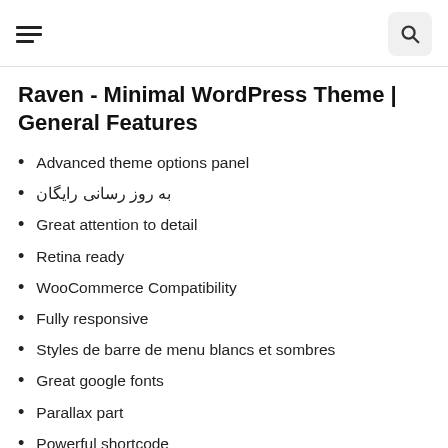[hamburger menu] [search icon]
Raven - Minimal WordPress Theme | General Features
Advanced theme options panel
به روز رسانی رایگان
Great attention to detail
Retina ready
WooCommerce Compatibility
Fully responsive
Styles de barre de menu blancs et sombres
Great google fonts
Parallax part
Powerful shortcode
In-depth documentation